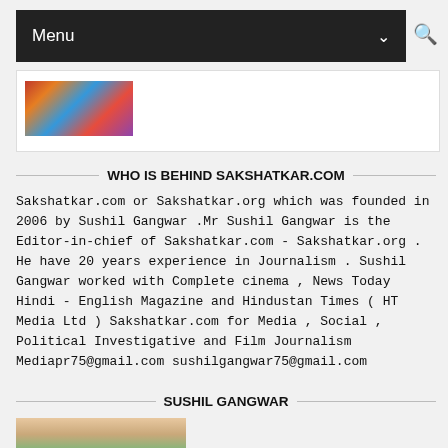Menu
[Figure (photo): Colorful crowd/event thumbnail image]
WHO IS BEHIND SAKSHATKAR.COM
Sakshatkar.com or Sakshatkar.org which was founded in 2006 by Sushil Gangwar .Mr Sushil Gangwar is the Editor-in-chief of Sakshatkar.com - Sakshatkar.org . He have 20 years experience in Journalism . Sushil Gangwar worked with Complete cinema , News Today Hindi - English Magazine and Hindustan Times ( HT Media Ltd ) Sakshatkar.com for Media , Social , Political Investigative and Film Journalism Mediapr75@gmail.com sushilgangwar75@gmail.com
SUSHIL GANGWAR
[Figure (photo): Photo of Sushil Gangwar]